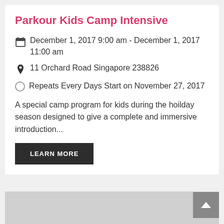Parkour Kids Camp Intensive
December 1, 2017 9:00 am - December 1, 2017 11:00 am
11 Orchard Road Singapore 238826
Repeats Every Days Start on November 27, 2017
A special camp program for kids during the hoilday season designed to give a complete and immersive introduction...
LEARN MORE